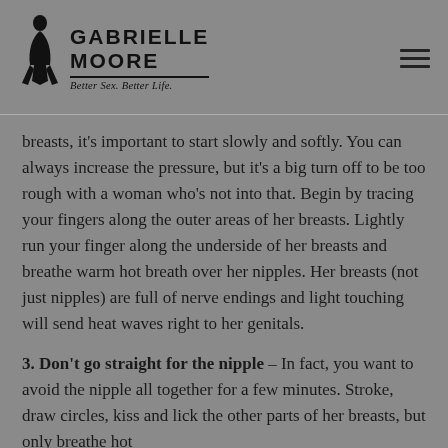GABRIELLE MOORE — Better Sex. Better Life.
breasts, it's important to start slowly and softly. You can always increase the pressure, but it's a big turn off to be too rough with a woman who's not into that. Begin by tracing your fingers along the outer areas of her breasts. Lightly run your finger along the underside of her breasts and breathe warm hot breath over her nipples. Her breasts (not just nipples) are full of nerve endings and light touching will send heat waves right to her genitals.
3. Don't go straight for the nipple – In fact, you want to avoid the nipple all together for a few minutes. Stroke, draw circles, kiss and lick the other parts of her breasts, but only breathe hot